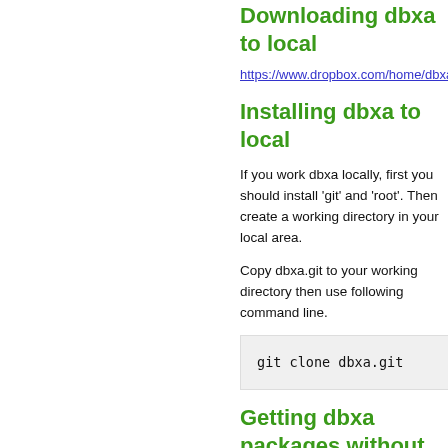Downloading dbxa to local
https://www.dropbox.com/home/dbxa
Installing dbxa to local
If you work dbxa locally, first you should install 'git' and 'root'. Then create a working directory in your local area.
Copy dbxa.git to your working directory then use following command line.
Getting dbxa packages without using password